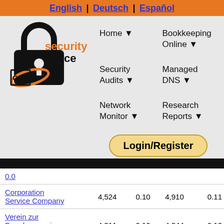English | Deutsch | Español
[Figure (logo): Security Space logo with padlock and 'security space' text in orange and black]
Home ▼
Bookkeeping Online ▼
Security Audits ▼
Managed DNS ▼
Network Monitor ▼
Research Reports ▼
Login/Register
| 0.0 |  |  |  |  |
| Corporation Service Company | 4,524 | 0.10 | 4,910 | 0.11 |
| Verein zur Foerderung eines Deutschen | 4,311 | 0.10 | 4,344 | 0.10 |